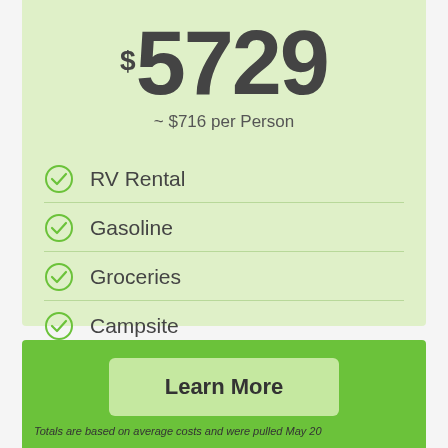$5729 ~ $716 per Person
RV Rental
Gasoline
Groceries
Campsite
Learn More
Totals are based on average costs and were pulled May 20...